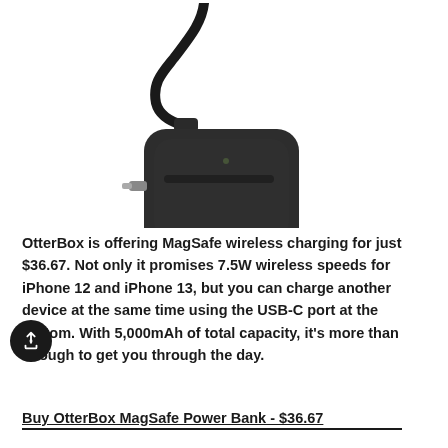[Figure (photo): OtterBox MagSafe Power Bank product photo showing a small dark grey/black rectangular charging case with a built-in Lightning connector and a black charging cable attached at the top, photographed on a white background.]
OtterBox is offering MagSafe wireless charging for just $36.67. Not only it promises 7.5W wireless speeds for iPhone 12 and iPhone 13, but you can charge another device at the same time using the USB-C port at the bottom. With 5,000mAh of total capacity, it's more than enough to get you through the day.
Buy OtterBox MagSafe Power Bank - $36.67